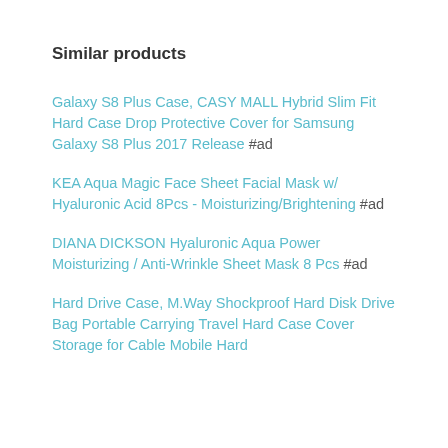Similar products
Galaxy S8 Plus Case, CASY MALL Hybrid Slim Fit Hard Case Drop Protective Cover for Samsung Galaxy S8 Plus 2017 Release #ad
KEA Aqua Magic Face Sheet Facial Mask w/ Hyaluronic Acid 8Pcs - Moisturizing/Brightening #ad
DIANA DICKSON Hyaluronic Aqua Power Moisturizing / Anti-Wrinkle Sheet Mask 8 Pcs #ad
Hard Drive Case, M.Way Shockproof Hard Disk Drive Bag Portable Carrying Travel Hard Case Cover Storage for Cable Mobile Hard